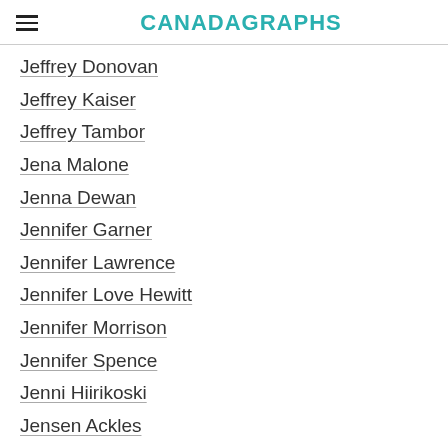CANADAGRAPHS
Jeffrey Donovan
Jeffrey Kaiser
Jeffrey Tambor
Jena Malone
Jenna Dewan
Jennifer Garner
Jennifer Lawrence
Jennifer Love Hewitt
Jennifer Morrison
Jennifer Spence
Jenni Hiirikoski
Jensen Ackles
Jensen Ackles Impersonator
Jensen Ackles With A Beard